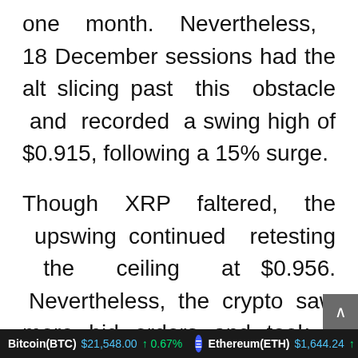one month. Nevertheless, 18 December sessions had the alt slicing past this obstacle and recorded a swing high of $0.915, following a 15% surge.
Though XRP faltered, the upswing continued retesting the ceiling at $0.956. Nevertheless, the crypto saw more bid orders and took it as an advantage to revisit the resistance
Bitcoin(BTC) $21,548.00 ↑ 0.67%  Ethereum(ETH) $1,644.24 ↑ 3.5